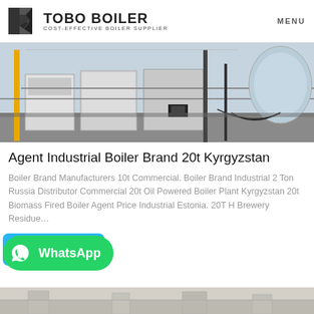TOBO BOILER — COST-EFFECTIVE BOILER SUPPLIER | MENU
[Figure (photo): Industrial boiler room with multiple boiler units, pipes, cables, and equipment on a factory floor.]
Agent Industrial Boiler Brand 20t Kyrgyzstan
Boiler Brand Manufacturers 10t Commercial. Boiler Brand Industrial 2 Ton Russia Distributor Commercial 20t Oil Powered Boiler Plant Kyrgyzstan 20t Biomass Fired Boiler Agent Price Industrial Estonia. 20T H Brewery Residue…
[Figure (screenshot): WhatsApp contact button — green rounded rectangle with WhatsApp logo icon and 'WhatsApp' text in white. A blue partial button is visible behind it.]
[Figure (photo): Partial view of industrial boiler equipment at the bottom of the page.]